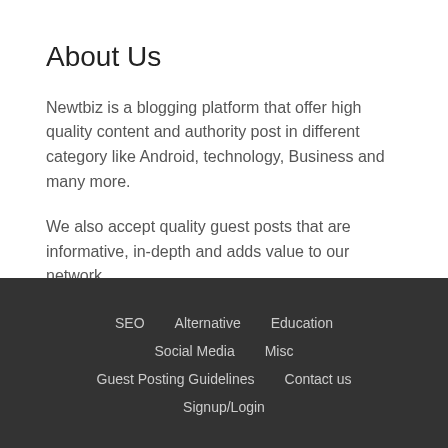About Us
Newtbiz is a blogging platform that offer high quality content and authority post in different category like Android, technology, Business and many more.
We also accept quality guest posts that are informative, in-depth and adds value to our network.
Submit Article
SEO  Alternative  Education  Social Media  Misc  Guest Posting Guidelines  Contact us  Signup/Login